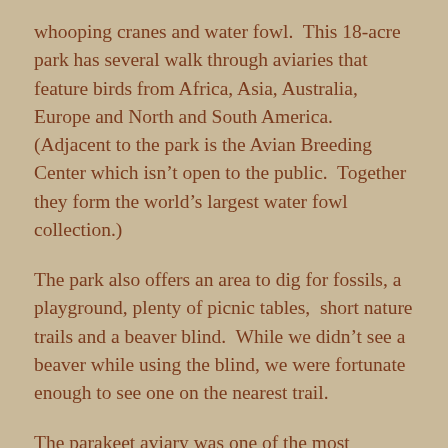whooping cranes and water fowl.  This 18-acre park has several walk through aviaries that feature birds from Africa, Asia, Australia, Europe and North and South America.  (Adjacent to the park is the Avian Breeding Center which isn't open to the public.  Together they form the world's largest water fowl collection.)
The park also offers an area to dig for fossils, a playground, plenty of picnic tables,  short nature trails and a beaver blind.  While we didn't see a beaver while using the blind, we were fortunate enough to see one on the nearest trail.
The parakeet aviary was one of the most popular.  Obviously comfortable with people, the parakeets were free to fly around and would eat off of hand-held seed sticks and occasionally land on visitors' arms/shoulders.